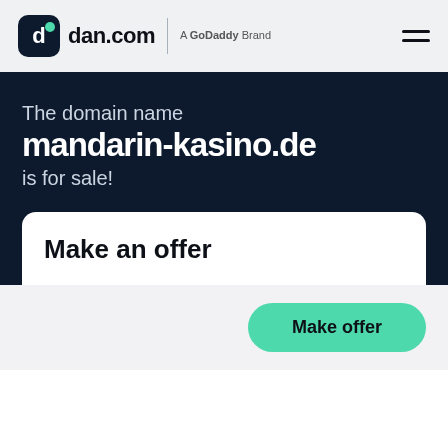dan.com | A GoDaddy Brand
The domain name mandarin-kasino.de is for sale!
Make an offer
Make offer